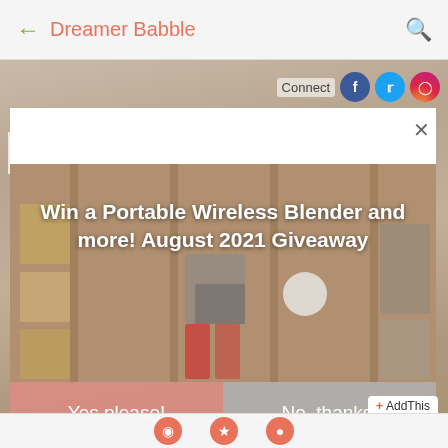← Dreamer Babble 🔍
[Figure (screenshot): Website screenshot of Dreamer Babble blog with a popup modal overlay. The popup shows a giveaway promotion for a Portable Wireless Blender with Yes please! and No, thanks! buttons. Background shows a wooden shelf with various household products. Social media connect icons (Facebook, Twitter, Instagram) visible in top right.]
Win a Portable Wireless Blender and more! August 2021 Giveaway
Win Over ₱15 Million Worth of
Yes please!
No, thanks!
Connect
+ AddThis